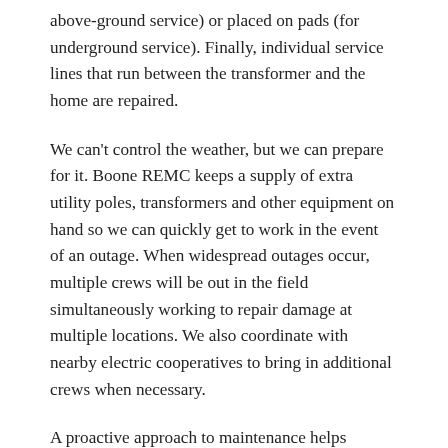above-ground service) or placed on pads (for underground service). Finally, individual service lines that run between the transformer and the home are repaired.
We can't control the weather, but we can prepare for it. Boone REMC keeps a supply of extra utility poles, transformers and other equipment on hand so we can quickly get to work in the event of an outage. When widespread outages occur, multiple crews will be out in the field simultaneously working to repair damage at multiple locations. We also coordinate with nearby electric cooperatives to bring in additional crews when necessary.
A proactive approach to maintenance helps minimize the chance of prolonged outages. This is why you see Boone REMC crews periodically trimming trees and clearing vegetation near rights-of-way. We love trees too, but it only takes one overgrown limb to knock out